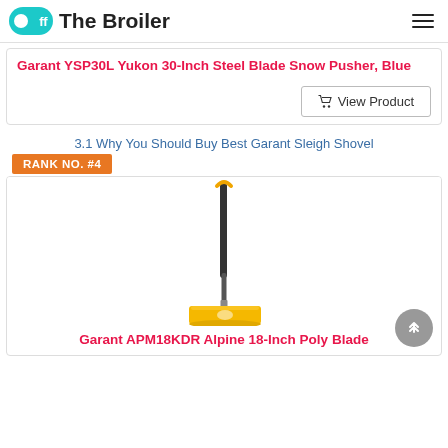Off The Broiler
Garant YSP30L Yukon 30-Inch Steel Blade Snow Pusher, Blue
View Product
3.1 Why You Should Buy Best Garant Sleigh Shovel
RANK NO. #4
[Figure (photo): Yellow Garant snow shovel with black handle and D-grip, standing upright]
Garant APM18KDR Alpine 18-Inch Poly Blade